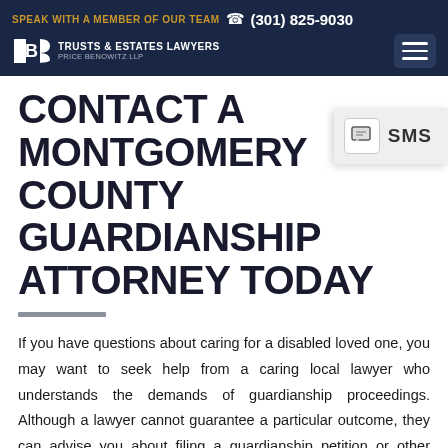SPEAK WITH A MEMBER OF OUR TEAM  (301) 825-9030 | TRUSTS & ESTATES LAWYERS PRICE BENOWITZ LLP
CONTACT A MONTGOMERY COUNTY GUARDIANSHIP ATTORNEY TODAY
If you have questions about caring for a disabled loved one, you may want to seek help from a caring local lawyer who understands the demands of guardianship proceedings. Although a lawyer cannot guarantee a particular outcome, they can advise you about filing a guardianship petition or other options for caring for your loved one. For more information